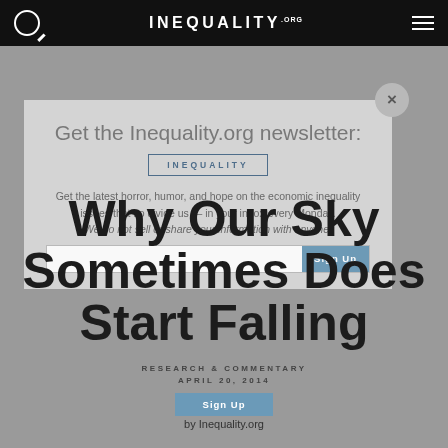INEQUALITY.ORG
Get the Inequality.org newsletter:
INEQUALITY
Get the latest horror, humor, and hope on the economic inequality issues that so divide us — in your inbox every Monday. We do not sell or share your information with anyone.
Why Our Sky Sometimes Does Start Falling
RESEARCH & COMMENTARY
APRIL 20, 2014
Sign Up
by Inequality.org